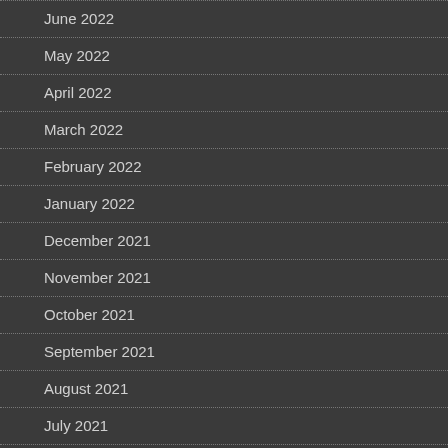June 2022
May 2022
April 2022
March 2022
February 2022
January 2022
December 2021
November 2021
October 2021
September 2021
August 2021
July 2021
May 2021